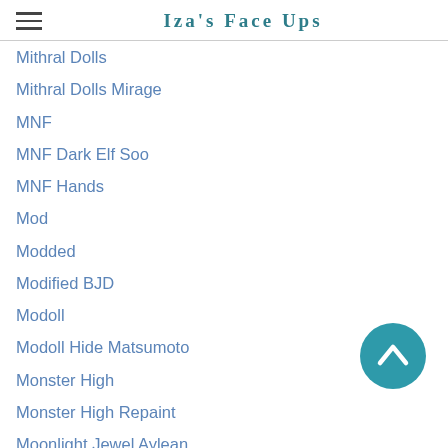Iza's Face Ups
Mithral Dolls
Mithral Dolls Mirage
MNF
MNF Dark Elf Soo
MNF Hands
Mod
Modded
Modified BJD
Modoll
Modoll Hide Matsumoto
Monster High
Monster High Repaint
Moonlight Jewel Aylean
Moonlight Jewel Dolls
Msd
Msd Prop
Msd Scale Instrument
Multi-eyed Doll